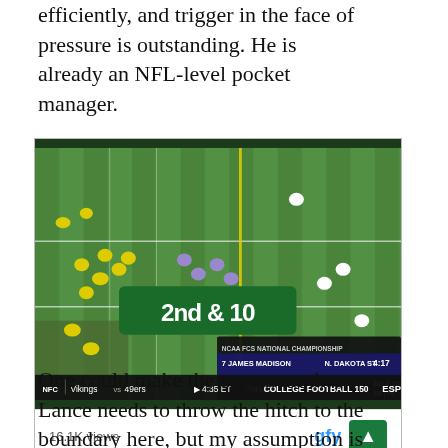efficiently, and trigger in the face of pressure is outstanding. He is already an NFL-level pocket manager.
[Figure (screenshot): Aerial view of a football game showing 2nd & 10 down and distance graphic. Scoreboard shows NCAA FCS National Championship: James Madison 7, N. Dakota St 0, 1st quarter 4:17, 2nd & 10. Bottom ticker shows NFC Vikings vs 49ers, 4:35 ET, College Football 150. View count: 16.1K views. gfy logo visible.]
One could make the argument that Lance needs to throw the hitch to the boundary here, but my assumption is that Lance believes the slot defender